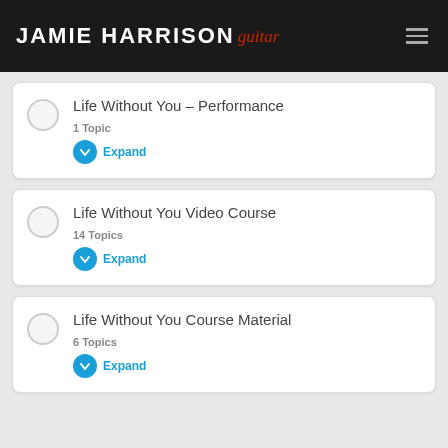JAMIE HARRISON guitar
Life Without You – Performance
1 Topic
Expand
Life Without You Video Course
14 Topics
Expand
Life Without You Course Material
6 Topics
Expand